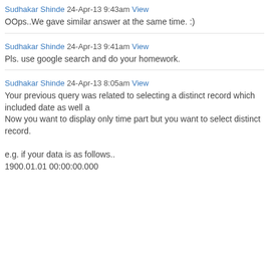Sudhakar Shinde 24-Apr-13 9:43am View
OOps..We gave similar answer at the same time. :)
Sudhakar Shinde 24-Apr-13 9:41am View
Pls. use google search and do your homework.
Sudhakar Shinde 24-Apr-13 8:05am View
Your previous query was related to selecting a distinct record which included date as well a...
Now you want to display only time part but you want to select distinct record.

e.g. if your data is as follows..
1900.01.01 00:00:00.000
Like every other website we use cookies. By using our site you acknowledge that you have read and understand our Cookie Policy, Privacy Policy, and our Terms of Service. Learn more